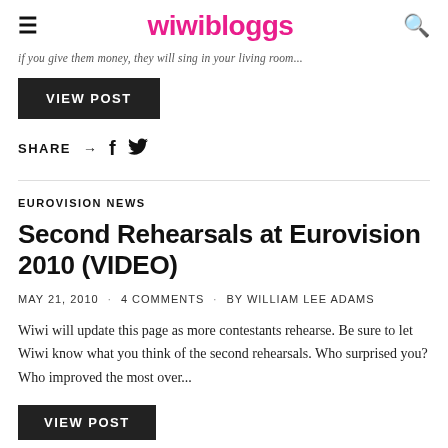wiwibloggs
if you give them money, they will sing in your living room...
VIEW POST
SHARE → f 🐦
EUROVISION NEWS
Second Rehearsals at Eurovision 2010 (VIDEO)
MAY 21, 2010 · 4 COMMENTS · BY WILLIAM LEE ADAMS
Wiwi will update this page as more contestants rehearse. Be sure to let Wiwi know what you think of the second rehearsals. Who surprised you? Who improved the most over...